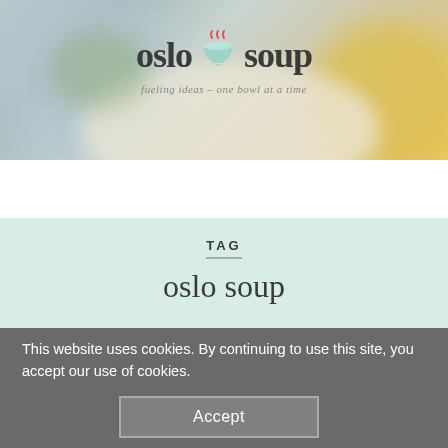[Figure (photo): Blurred background photo of a soup bowl with colorful ingredients, used as website header image]
oslo soup — fueling ideas – one bowl at a time
[Figure (other): Navigation bar with hamburger menu icon on left and search icon on right, dark background]
TAG
oslo soup
This website uses cookies. By continuing to use this site, you accept our use of cookies.
Accept